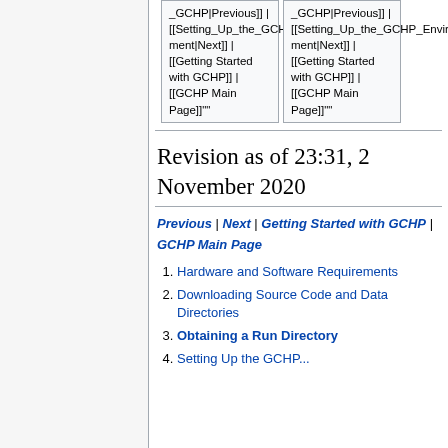| _GCHP|Previous]] | [[Setting_Up_the_GCHP_Environment|Next]] | [[Getting Started with GCHP]] | [[GCHP Main Page]]""" | _GCHP|Previous]] | [[Setting_Up_the_GCHP_Environment|Next]] | [[Getting Started with GCHP]] | [[GCHP Main Page]]""" |
Revision as of 23:31, 2 November 2020
Previous | Next | Getting Started with GCHP | GCHP Main Page
1. Hardware and Software Requirements
2. Downloading Source Code and Data Directories
3. Obtaining a Run Directory
4. Setting Up the GCHP...